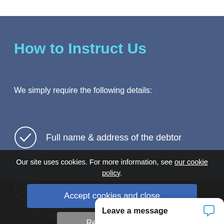How to Instruct Us
We simply require the following details:
Full name & address of the debtor
contact name / mobile / Email(s)
will / deny
Our site uses cookies. For more information, see our cookie policy.
Accept cookies and close
Reject cooki…
Leave a message